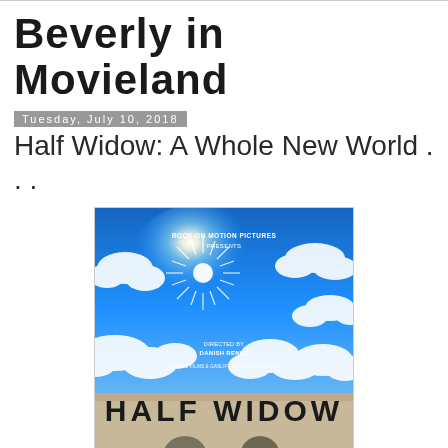Beverly in Movieland
Tuesday, July 10, 2018
Half Widow: A Whole New World . . .
[Figure (photo): Movie poster for 'Half Widow' — a film by Rock On Motion Pictures. Blue sky with bright sunlight star burst and white clouds. Small white text reads 'ROCK ON MOTION PICTURES PRESENTS', 'DIRECTED BY DANISH RENLD', 'A HEBLE FILMS & GASLIFT FILMS PRODUCTION'. Large stylized bold text at bottom reads 'HALF WIDOW' in dark block letters. Bottom edge shows partial view of characters.]